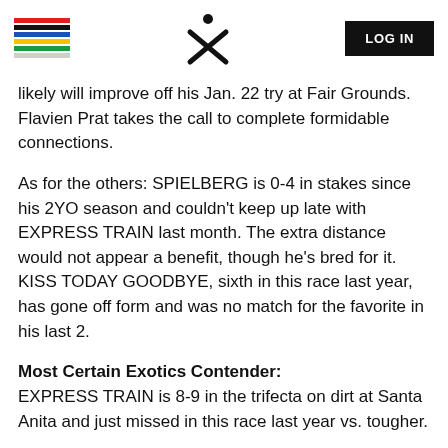[Logo stripes] [X logo] [LOG IN button]
likely will improve off his Jan. 22 try at Fair Grounds. Flavien Prat takes the call to complete formidable connections.
As for the others: SPIELBERG is 0-4 in stakes since his 2YO season and couldn't keep up late with EXPRESS TRAIN last month. The extra distance would not appear a benefit, though he's bred for it. KISS TODAY GOODBYE, sixth in this race last year, has gone off form and was no match for the favorite in his last 2.
Most Certain Exotics Contender:
EXPRESS TRAIN is 8-9 in the trifecta on dirt at Santa Anita and just missed in this race last year vs. tougher.